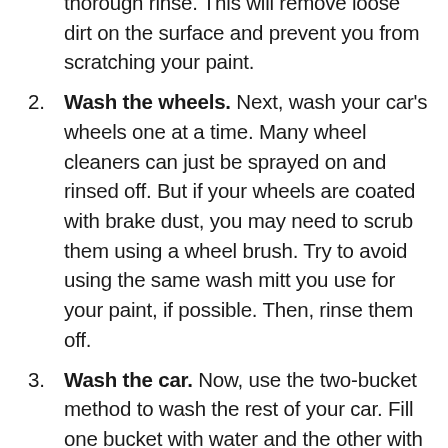(continued) thorough rinse. This will remove loose dirt on the surface and prevent you from scratching your paint.
2. Wash the wheels. Next, wash your car's wheels one at a time. Many wheel cleaners can just be sprayed on and rinsed off. But if your wheels are coated with brake dust, you may need to scrub them using a wheel brush. Try to avoid using the same wash mitt you use for your paint, if possible. Then, rinse them off.
3. Wash the car. Now, use the two-bucket method to wash the rest of your car. Fill one bucket with water and the other with car wash soap and water. Start from the top of your car and work your way down, washing one section at a time. Soak your wash mitt in the soap bucket, then clean one section of the...